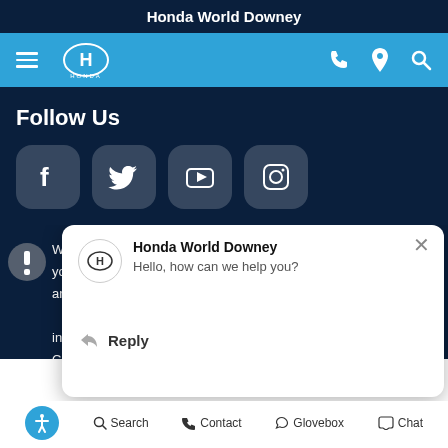Honda World Downey
[Figure (screenshot): Honda navigation bar with hamburger menu, Honda logo, phone, location, and search icons on blue background]
Follow Us
[Figure (infographic): Social media icons: Facebook, Twitter, YouTube, Instagram on dark navy background]
We use co... your expe... and anal... informa... informat... California... consumers may exercise their CCPA rights here.
[Figure (screenshot): Chat popup overlay from Honda World Downey saying Hello, how can we help you? with a Reply button]
Search   Contact   Glovebox   Chat